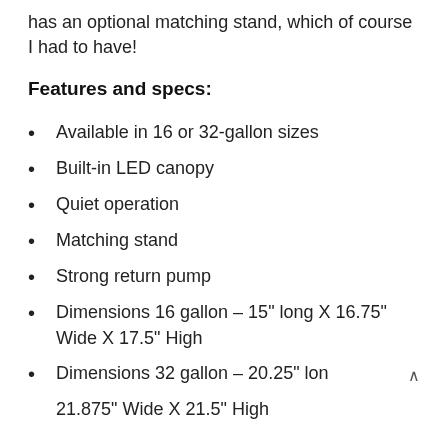has an optional matching stand, which of course I had to have!
Features and specs:
Available in 16 or 32-gallon sizes
Built-in LED canopy
Quiet operation
Matching stand
Strong return pump
Dimensions 16 gallon – 15" long X 16.75" Wide X 17.5" High
Dimensions 32 gallon – 20.25" lon 21.875" Wide X 21.5" High